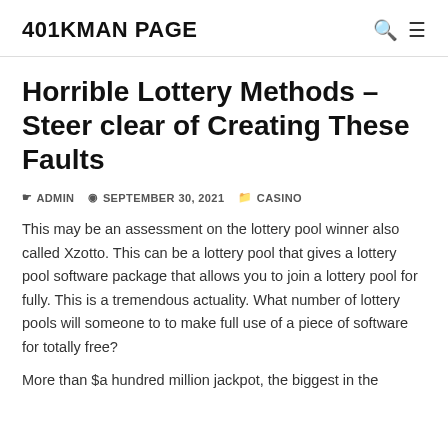401KMAN PAGE
Horrible Lottery Methods – Steer clear of Creating These Faults
ADMIN   SEPTEMBER 30, 2021   CASINO
This may be an assessment on the lottery pool winner also called Xzotto. This can be a lottery pool that gives a lottery pool software package that allows you to join a lottery pool for fully. This is a tremendous actuality. What number of lottery pools will someone to to make full use of a piece of software for totally free?
More than $a hundred million jackpot, the biggest in the